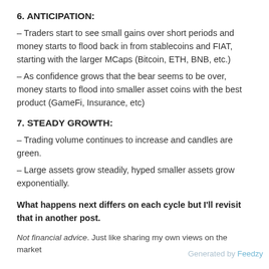6. ANTICIPATION:
– Traders start to see small gains over short periods and money starts to flood back in from stablecoins and FIAT, starting with the larger MCaps (Bitcoin, ETH, BNB, etc.)
– As confidence grows that the bear seems to be over, money starts to flood into smaller asset coins with the best product (GameFi, Insurance, etc)
7. STEADY GROWTH:
– Trading volume continues to increase and candles are green.
– Large assets grow steadily, hyped smaller assets grow exponentially.
What happens next differs on each cycle but I'll revisit that in another post.
Not financial advice. Just like sharing my own views on the market